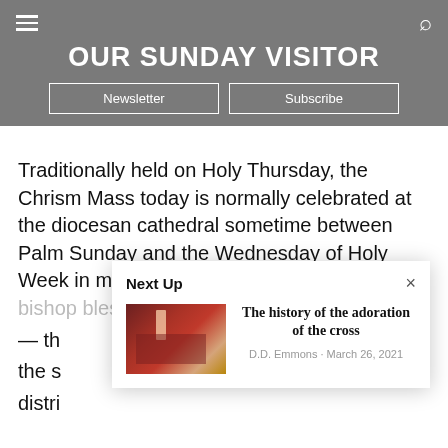OUR SUNDAY VISITOR
Newsletter | Subscribe
Traditionally held on Holy Thursday, the Chrism Mass today is normally celebrated at the diocesan cathedral sometime between Palm Sunday and the Wednesday of Holy Week in most dioceses. In this liturg the local bishop blesses the three sacred oils — th the s distri
[Figure (screenshot): Next Up popup overlay showing article thumbnail and title 'The history of the adoration of the cross' by D.D. Emmons, March 26, 2021]
The